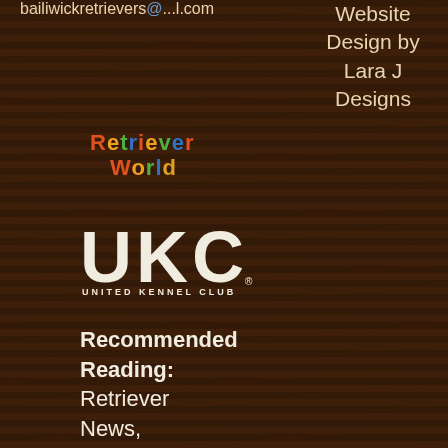bailiwickretrievers@...l.com
[Figure (logo): Retriever World colorful text logo]
[Figure (logo): UKC United Kennel Club logo with large bold UKC letters and United Kennel Club text below]
Website Design by Lara J Designs
Recommended Reading: Retriever News, Hunting Retriever, Ducks Unlimited Books: Richard Wolters - Gun Dog,